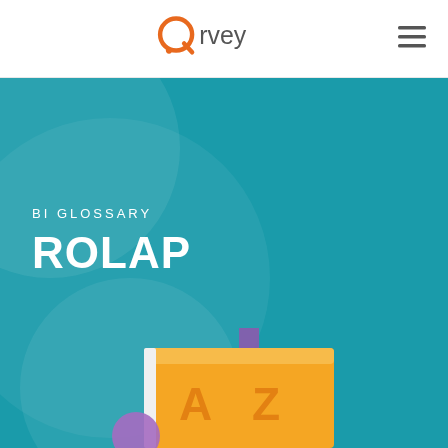Qrvey
BI GLOSSARY
ROLAP
[Figure (illustration): Illustrated A-Z book/glossary with orange/yellow book cover, purple bookmark ribbon, partially visible at bottom of teal hero section]